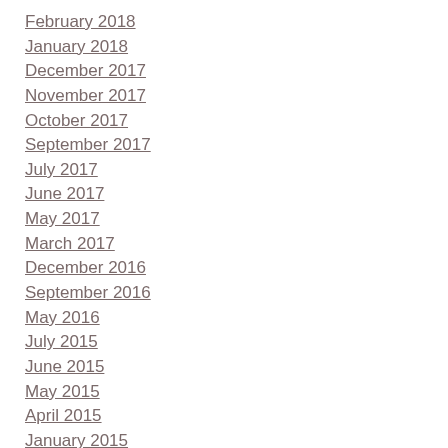February 2018
January 2018
December 2017
November 2017
October 2017
September 2017
July 2017
June 2017
May 2017
March 2017
December 2016
September 2016
May 2016
July 2015
June 2015
May 2015
April 2015
January 2015
December 2014